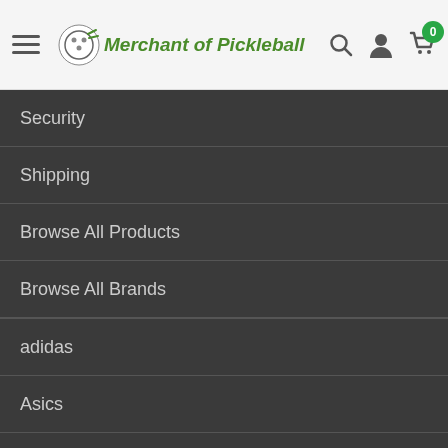Merchant of Pickleball — navigation header with hamburger menu, logo, search, user, and cart icons
Security
Shipping
Browse All Products
Browse All Brands
adidas
Asics
Gamma
Head
Lacoste